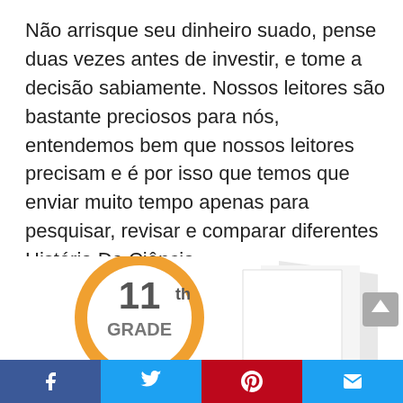Não arrisque seu dinheiro suado, pense duas vezes antes de investir, e tome a decisão sabiamente. Nossos leitores são bastante preciosos para nós, entendemos bem que nossos leitores precisam e é por isso que temos que enviar muito tempo apenas para pesquisar, revisar e comparar diferentes História Da Ciência.
[Figure (infographic): 11th Grade education product infographic with orange circle badge, math/language arts labels, student icon in green circle, and white book/computer graphic]
[Figure (infographic): Social media share bar with Facebook, Twitter, Pinterest, and Email buttons]